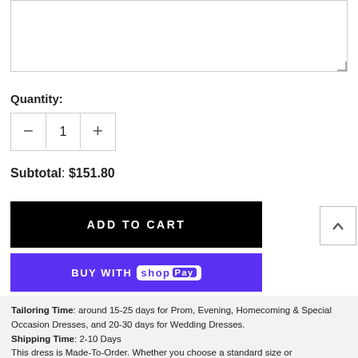[Figure (other): Text area input box (empty, with resize handle)]
Quantity:
[Figure (other): Quantity stepper control with minus button, value 1, and plus button]
Subtotal: $151.80
[Figure (other): Black ADD TO CART button]
[Figure (other): Purple BUY WITH Shop Pay button]
Tailoring Time: around 15-25 days for Prom, Evening, Homecoming & Special Occasion Dresses, and 20-30 days for Wedding Dresses.
Shipping Time: 2-10 Days
This dress is Made-To-Order. Whether you choose a standard size or